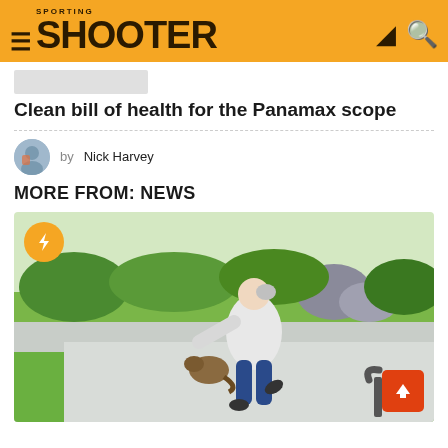SPORTING SHOOTER
Clean bill of health for the Panamax scope
by Nick Harvey
MORE FROM: NEWS
[Figure (photo): Person kicking or fending off a groundhog/beaver on a driveway, with green lawn and rocks in background. Orange lightning bolt badge in top-left corner. Orange scroll-to-top button in bottom-right corner.]